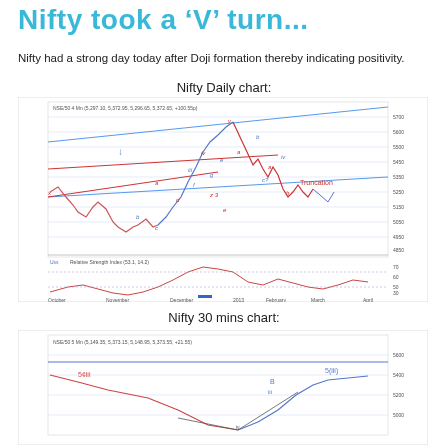Nifty took a 'V' turn...
Nifty had a strong day today after Doji formation thereby indicating positivity.
Nifty Daily chart:
[Figure (continuous-plot): Nifty Daily chart showing Elliott Wave pattern with blue and red trend lines, wave labels (a, b, c, d, e, iii, iv, b, c?), RSI indicator below, x-axis showing months from October to April, y-axis showing price levels around 4400-5700. Truncation label visible.]
Nifty 30 mins chart:
[Figure (continuous-plot): Nifty 30 mins chart showing intraday Elliott Wave pattern with labels B, iii, 5(iii), price rebound forming V shape, y-axis showing levels around 5000-5400.]